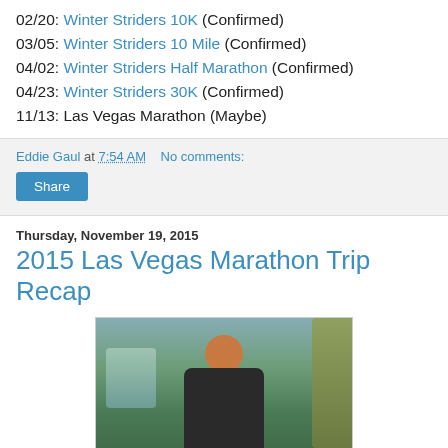02/20: Winter Striders 10K (Confirmed)
03/05: Winter Striders 10 Mile (Confirmed)
04/02: Winter Striders Half Marathon (Confirmed)
04/23: Winter Striders 30K (Confirmed)
11/13: Las Vegas Marathon (Maybe)
Eddie Gaul at 7:54 AM   No comments:
Share
Thursday, November 19, 2015
2015 Las Vegas Marathon Trip Recap
[Figure (photo): A bald man with a goatee wearing a dark Las Vegas Marathon shirt, standing outdoors with palm trees, tropical greenery, and a waterfall in the background.]